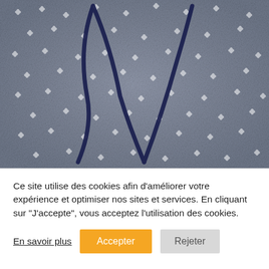[Figure (photo): A decorative pillow with a grey and white floral lace pattern, with a dark navy cursive letter or monogram overlaid on top.]
Ce site utilise des cookies afin d'améliorer votre expérience et optimiser nos sites et services. En cliquant sur "J'accepte", vous acceptez l'utilisation des cookies.
En savoir plus   Accepter   Rejeter